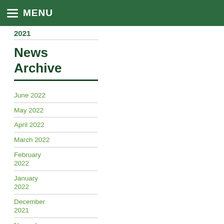MENU
2021
News Archive
June 2022
May 2022
April 2022
March 2022
February 2022
January 2022
December 2021
November 2021
October 2021
September